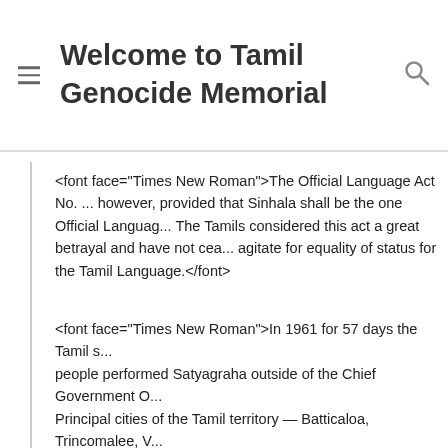Welcome to Tamil Genocide Memorial
<font face="Times New Roman">The Official Language Act No. ... however, provided that Sinhala shall be the one Official Language... The Tamils considered this act a great betrayal and have not ceased to agitate for equality of status for the Tamil Language.</font>
<font face="Times New Roman">In 1961 for 57 days the Tamil s... people performed Satyagraha outside of the Chief Government O... Principal cities of the Tamil territory — Batticaloa, Trincomalee, V... Mannar, Jaffna — thus bringing the administration in these areas... still.</font>
<font face="Times New Roman">The Government imposed a sta... emergency and used the Armed Forces to unleash a reign of ter... areas. The Tamil M.P.s and leading Tamils like Kanthiah Vaithian... placed under detention. When some legislative provision has be... the use of the Tamil language in the Northern and Eastern Provi... continued to be largely used as the sole language of public busi... inconvenience, embarrassment, and humiliation to the Tamil s...</font>